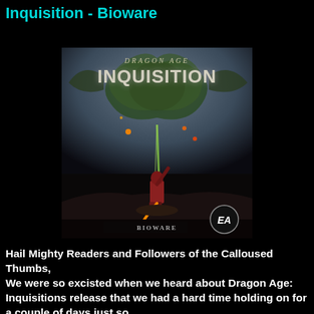Inquisition - Bioware
[Figure (photo): Dragon Age: Inquisition game cover art showing a warrior figure with a glowing sword/staff confronting a massive dragon made of smoke and fire. BioWare and EA logos visible at the bottom.]
Hail Mighty Readers and Followers of the Calloused Thumbs,
We were so excisted when we heard about Dragon Age: Inquisitions release that we had a hard time holding on for a couple of days just so